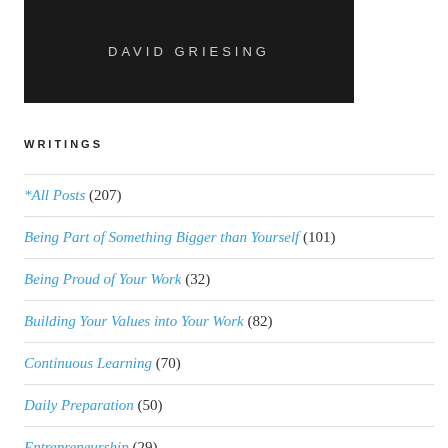[Figure (photo): Book cover image with author name DAVID GRIESING on dark textured background]
WRITINGS
*All Posts (207)
Being Part of Something Bigger than Yourself (101)
Being Proud of Your Work (32)
Building Your Values into Your Work (82)
Continuous Learning (70)
Daily Preparation (50)
Entrepreneurship (29)